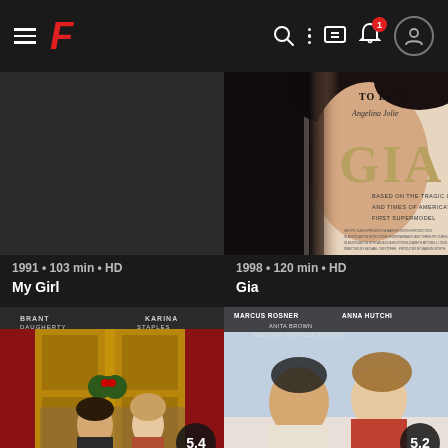F [Fandor app navigation bar with hamburger menu, F logo, search, more options, chat, bell (1 notification), user profile icons]
[Figure (photo): Movie poster placeholder (dark) for My Girl]
[Figure (photo): Movie poster for Gia featuring Angelina Jolie. Text: TO LIVE. Angelina Jolie GIA BASED ON THE TRAGIC LIFE AND TIMES OF AMERICA'S FIRST SUPERMODEL]
1991 • 103 min • HD
1998 • 120 min • HD
My Girl
Gia
[Figure (photo): Movie poster with actors BRANT DAUGHERTY and KARINA STAPLES, Christmas theme, rating 5.4]
[Figure (photo): Movie poster with MARCUS ROSNER, ANNA HUTCHISON, ANITA BROWN, BENJAMIN CHARLES WATSON, rating 5.2]